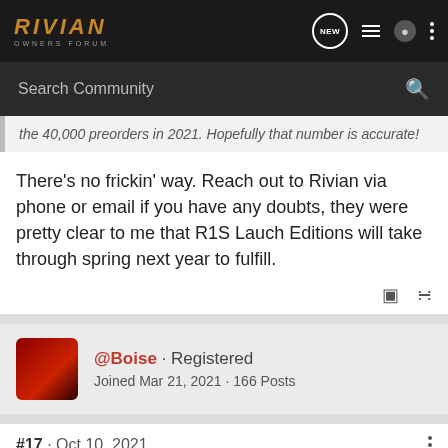RIVIAN OWNERS FORUM
Search Community
the 40,000 preorders in 2021. Hopefully that number is accurate!
There's no frickin' way. Reach out to Rivian via phone or email if you have any doubts, they were pretty clear to me that R1S Lauch Editions will take through spring next year to fulfill.
@Boise · Registered
Joined Mar 21, 2021 · 166 Posts
#17 · Oct 10, 2021